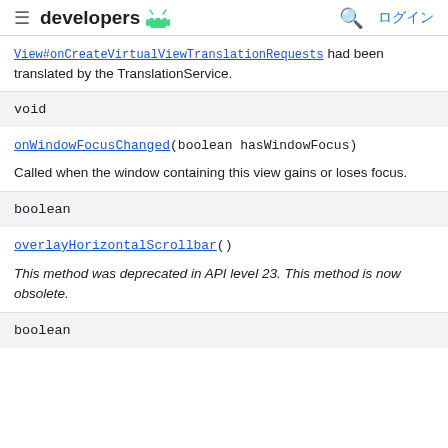developers
View#onCreateVirtualViewTranslationRequests had been translated by the TranslationService.
void
onWindowFocusChanged(boolean hasWindowFocus)
Called when the window containing this view gains or loses focus.
boolean
overlayHorizontalScrollbar()
This method was deprecated in API level 23. This method is now obsolete.
boolean